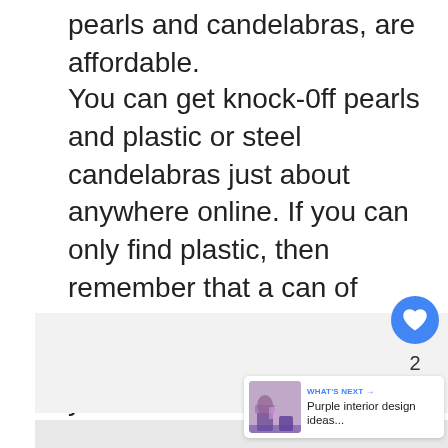pearls and candelabras, are affordable.
You can get knock-0ff pearls and plastic or steel candelabras just about anywhere online. If you can only find plastic, then remember that a can of silver spray paint can go a long way in adding value to your items.
[Figure (screenshot): UI overlay with heart/like button (blue circle), count of 2, and share button]
[Figure (screenshot): What's Next panel with thumbnail of purple interior design, label WHAT'S NEXT with arrow, and text 'Purple interior design ideas...']